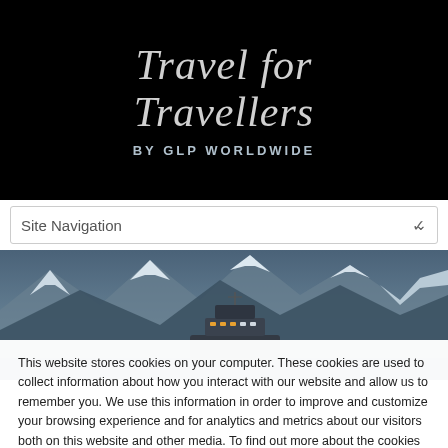Travel for Travellers BY GLP WORLDWIDE
[Figure (screenshot): Navigation bar with Site Navigation dropdown]
[Figure (photo): A cruise ship against a backdrop of snow-capped mountains in a blue-grey atmosphere]
This website stores cookies on your computer. These cookies are used to collect information about how you interact with our website and allow us to remember you. We use this information in order to improve and customize your browsing experience and for analytics and metrics about our visitors both on this website and other media. To find out more about the cookies we use, see our Privacy Policy.
Accept